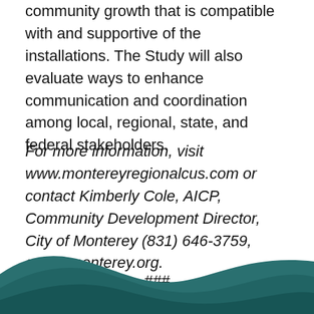community growth that is compatible with and supportive of the installations. The Study will also evaluate ways to enhance communication and coordination among local, regional, state, and federal stakeholders.
For more information, visit www.montereyregionalcus.com or contact Kimberly Cole, AICP, Community Development Director, City of Monterey (831) 646-3759, cole@monterey.org.
###
[Figure (illustration): Teal/dark cyan wave decorative footer graphic spanning the bottom of the page]